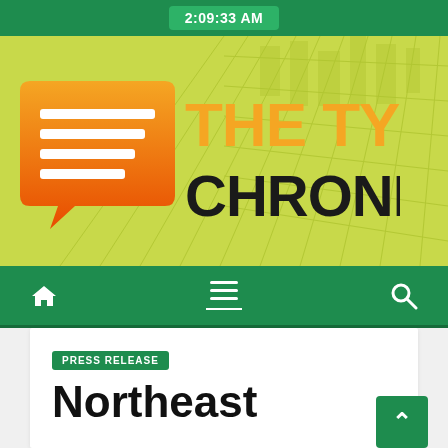2:09:33 AM
[Figure (logo): The Tyler Chronicle newspaper logo on a yellow-green city background. Orange speech-bubble icon with white lines on left, orange 'THE TYLER' text and black 'CHRONICLE' text on right.]
Navigation bar with home icon, hamburger menu, and search icon
PRESS RELEASE
Northeast